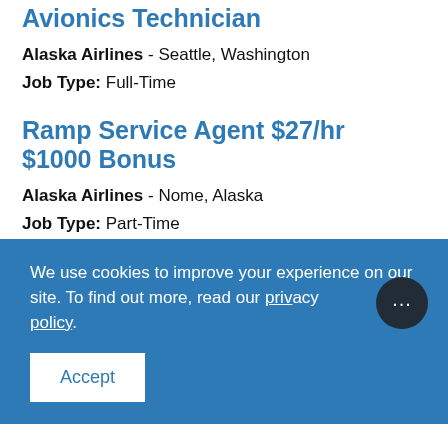Avionics Technician
Alaska Airlines - Seattle, Washington
Job Type: Full-Time
Ramp Service Agent $27/hr $1000 Bonus
Alaska Airlines - Nome, Alaska
Job Type: Part-Time
We use cookies to improve your experience on our site. To find out more, read our privacy policy.
Accept